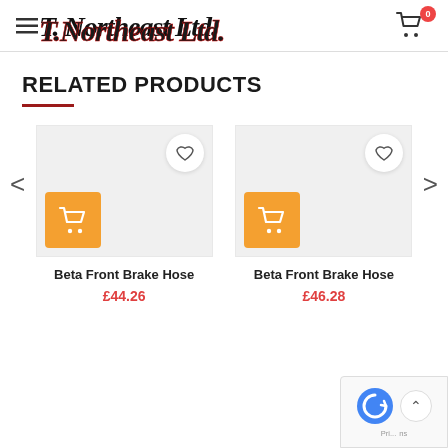T. Northeast Ltd.
RELATED PRODUCTS
Beta Front Brake Hose £44.26
Beta Front Brake Hose £46.28